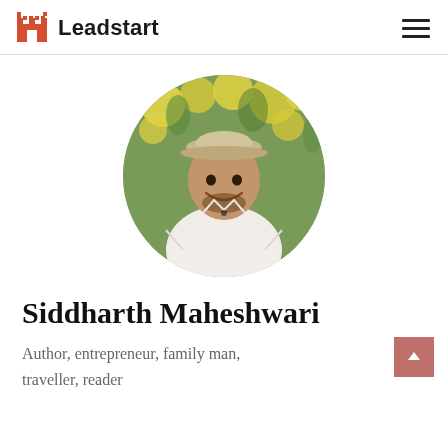Leadstart
[Figure (photo): Circular profile photo of Siddharth Maheshwari, a young man wearing a beige flat cap and white linen shirt, smiling in front of yellow roses and green foliage]
Siddharth Maheshwari
Author, entrepreneur, family man, traveller, reader